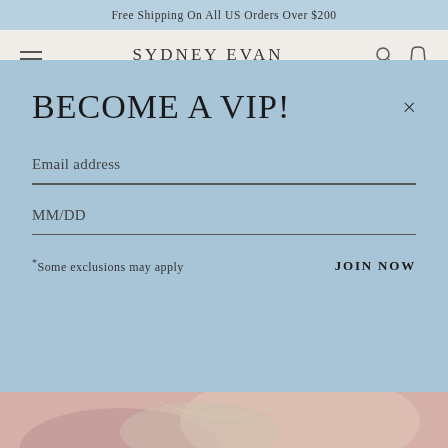Free Shipping On All US Orders Over $200
SYDNEY EVAN
BECOME A VIP!
Email address
MM/DD
*Some exclusions may apply
JOIN NOW
[Figure (photo): Woman wearing layered diamond necklaces, partial view of neck and chest]